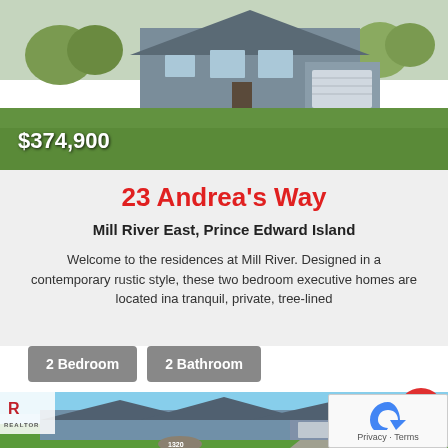[Figure (photo): Photo of a house exterior with gray siding and green lawn, price overlay showing $374,900]
23 Andrea's Way
Mill River East, Prince Edward Island
Welcome to the residences at Mill River. Designed in a contemporary rustic style, these two bedroom executive homes are located ina tranquil, private, tree-lined
2 Bedroom
2 Bathroom
[Figure (photo): Photo of a house for sale listing with REALTOR logo, FOR SALE badge, and a large ranch-style house with blue siding and triple garage]